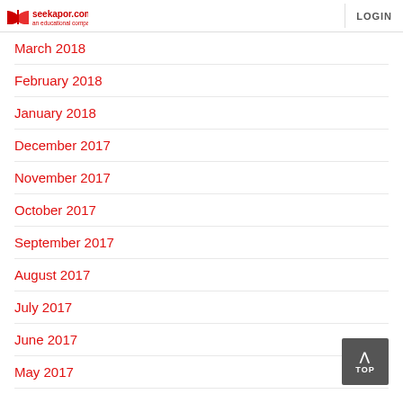seekapor.com an educational companion | LOGIN
March 2018
February 2018
January 2018
December 2017
November 2017
October 2017
September 2017
August 2017
July 2017
June 2017
May 2017